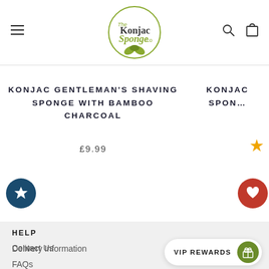[Figure (logo): The Konjac Sponge Co circular logo with green leaves and olive-green border]
KONJAC GENTLEMAN'S SHAVING SPONGE WITH BAMBOO CHARCOAL
£9.99
KONJAC SPON…
HELP
Contact Us
Delivery Information
FAQs
VIP REWARDS